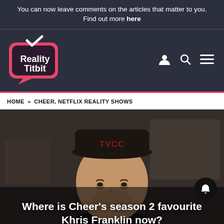You can now leave comments on the articles that matter to you. Find out more here
[Figure (logo): Reality Titbit logo — pink speech bubble with white checkmark and white text on dark navy background]
HOME » CHEER, NETFLIX REALITY SHOWS
[Figure (photo): A man wearing a black TVCC cap and dark jacket, photographed indoors with a blurred background. A notification bell button is overlaid bottom-right.]
Where is Cheer's season 2 favourite Khris Franklin now?